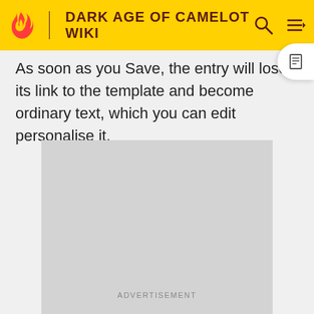DARK AGE OF CAMELOT WIKI
As soon as you Save, the entry will lose its link to the template and become ordinary text, which you can edit personalise it.
[Figure (other): Gray advertisement placeholder rectangle]
ADVERTISEMENT